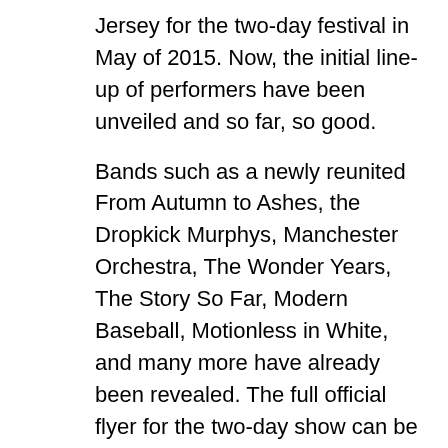Jersey for the two-day festival in May of 2015. Now, the initial line-up of performers have been unveiled and so far, so good.
Bands such as a newly reunited From Autumn to Ashes, the Dropkick Murphys, Manchester Orchestra, The Wonder Years, The Story So Far, Modern Baseball, Motionless in White, and many more have already been revealed. The full official flyer for the two-day show can be seen below.
[Figure (photo): Broken image placeholder with alt text 'Skate & Surf']
Once again, Skate and Surf will be returning home to Asbury Park, NJ though last year, they almost weren't allowed to do so, but so